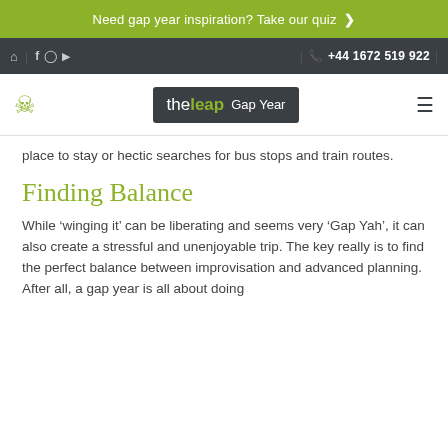Need gap year inspiration? Take our quiz >
| f  | +44 1672 519 922 |
[Figure (logo): The Leap Gap Year logo on dark background, with user icon and hamburger menu]
place to stay or hectic searches for bus stops and train routes.
Finding Balance
While 'winging it' can be liberating and seems very 'Gap Yah', it can also create a stressful and unenjoyable trip. The key really is to find the perfect balance between improvisation and advanced planning. After all, a gap year is all about doing